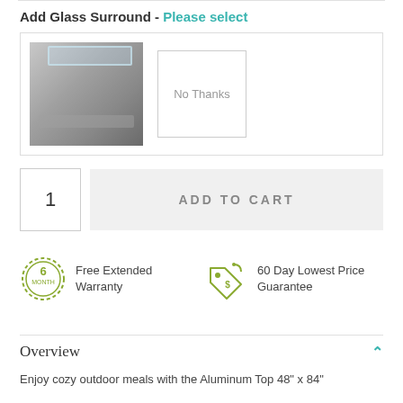Add Glass Surround - Please select
[Figure (photo): Glass surround product option selector with a photo of a glass surround accessory on the left and a 'No Thanks' option box on the right]
1
ADD TO CART
[Figure (illustration): 6 MONTH badge icon - circular badge with '6 MONTH' text in olive/green outline style]
Free Extended Warranty
[Figure (illustration): Price tag icon with '$' symbol in olive/green outline style]
60 Day Lowest Price Guarantee
Overview
Enjoy cozy outdoor meals with the Aluminum Top 48" x 84"